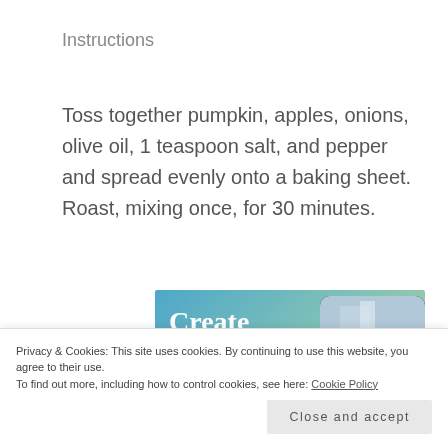Instructions
Toss together pumpkin, apples, onions, olive oil, 1 teaspoon salt, and pepper and spread evenly onto a baking sheet. Roast, mixing once, for 30 minutes.
[Figure (screenshot): Screenshot of a content creation app advertisement showing 'Create immersive stories.' text over a blue-green gradient background, with a phone overlay showing a waterfall image and app UI elements.]
Privacy & Cookies: This site uses cookies. By continuing to use this website, you agree to their use.
To find out more, including how to control cookies, see here: Cookie Policy
Close and accept